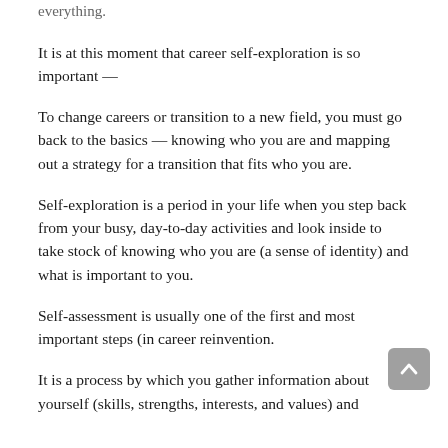everything.
It is at this moment that career self-exploration is so important —
To change careers or transition to a new field, you must go back to the basics — knowing who you are and mapping out a strategy for a transition that fits who you are.
Self-exploration is a period in your life when you step back from your busy, day-to-day activities and look inside to take stock of knowing who you are (a sense of identity) and what is important to you.
Self-assessment is usually one of the first and most important steps (in career reinvention.
It is a process by which you gather information about yourself (skills, strengths, interests, and values) and